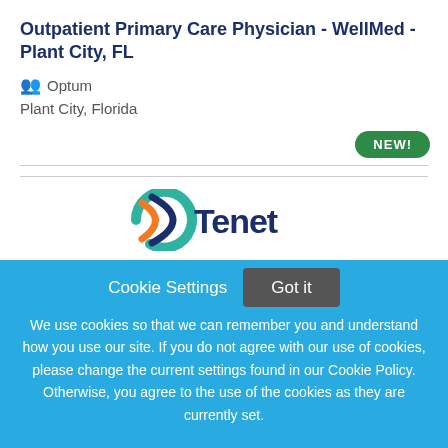Outpatient Primary Care Physician - WellMed - Plant City, FL
Optum
Plant City, Florida
[Figure (logo): NEW! badge - green rounded pill button]
[Figure (logo): Tenet Healthcare logo - partial view showing teal/orange circular mark and stylized Tenet wordmark in navy blue]
Cookie Settings   Got it
We use cookies so that we can remember you and understand how you use our site. If you do not agree with our use of cookies, please change the current settings found in our Cookie Policy. Otherwise, you agree to the use of the cookies as they are currently set.